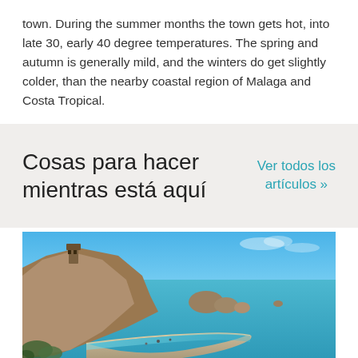town. During the summer months the town gets hot, into late 30, early 40 degree temperatures. The spring and autumn is generally mild, and the winters do get slightly colder, than the nearby coastal region of Malaga and Costa Tropical.
Cosas para hacer mientras está aquí
Ver todos los artículos »
[Figure (photo): Aerial view of a curved beach with turquoise water, rocky outcrops and a ruined tower on a hillside, along a Mediterranean coastline.]